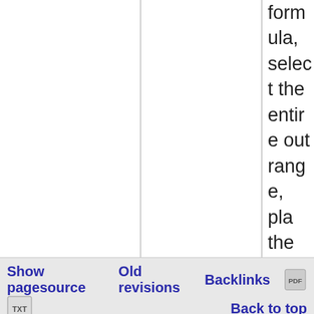formula, select the entire output range, place the cursor in the edit line to edit, and then press Ctrl-Shift-Return. If an attempt is made to edit a single cell in the range, a message displays indicating that the cell cannot be edited, because it is the output of an array formula. For more information
Show pagesource   Old revisions   Backlinks   Back to top